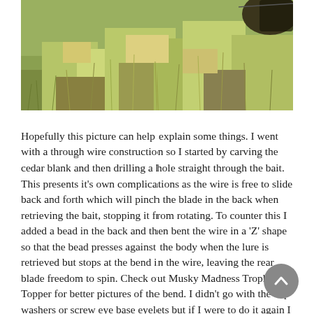[Figure (photo): A photo showing green and yellow-brown grass or ground cover, partially cropped at the top of the page. A dark object is partially visible in the upper right corner.]
Hopefully this picture can help explain some things. I went with a through wire construction so I started by carving the cedar blank and then drilling a hole straight through the bait. This presents it's own complications as the wire is free to slide back and forth which will pinch the blade in the back when retrieving the bait, stopping it from rotating. To counter this I added a bead in the back and then bent the wire in a 'Z' shape so that the bead presses against the body when the lure is retrieved but stops at the bend in the wire, leaving the rear blade freedom to spin. Check out Musky Madness Trophy Topper for better pictures of the bend. I didn't go with the cup washers or screw eye base eyelets but if I were to do it again I definitely would.
The final note I'd make is I added a small amount of weight just behind the front hook hanger to act as a ballast to keep the body from rolling on the retrieve. I'll have to double check but from what I remember in my testing this bait sits pretty level, if not very slightly tail down. If it sits nose down then the front